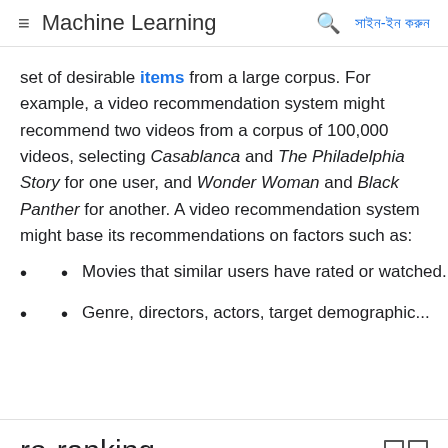Machine Learning
set of desirable items from a large corpus. For example, a video recommendation system might recommend two videos from a corpus of 100,000 videos, selecting Casablanca and The Philadelphia Story for one user, and Wonder Woman and Black Panther for another. A video recommendation system might base its recommendations on factors such as:
Movies that similar users have rated or watched.
Genre, directors, actors, target demographic...
re-ranking
The feature of a recommendation system is...